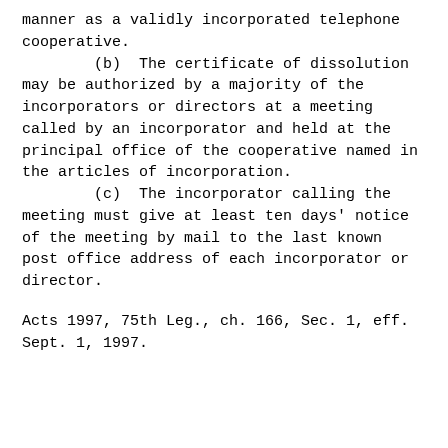manner as a validly incorporated telephone cooperative.
        (b)  The certificate of dissolution may be authorized by a majority of the incorporators or directors at a meeting called by an incorporator and held at the principal office of the cooperative named in the articles of incorporation.
        (c)  The incorporator calling the meeting must give at least ten days' notice of the meeting by mail to the last known post office address of each incorporator or director.
Acts 1997, 75th Leg., ch. 166, Sec. 1, eff. Sept. 1, 1997.